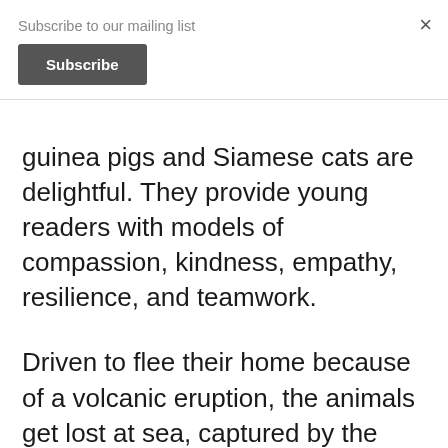Subscribe to our mailing list
Subscribe
×
guinea pigs and Siamese cats are delightful. They provide young readers with models of compassion, kindness, empathy, resilience, and teamwork.
Driven to flee their home because of a volcanic eruption, the animals get lost at sea, captured by the nasty, Captain Blood, and develop a plan to resist their enslavement. Will they be able to escape his clutches? What will the